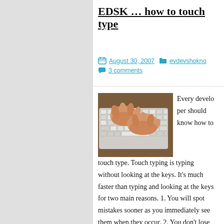EDSK … how to touch type
August 30, 2007  evdevshokno  3 comments
[Figure (photo): Hands typing on a keyboard, close-up photograph showing fingers on white/grey keys]
Every developer should know how to touch type. Touch typing is typing without looking at the keys. It's much faster than typing and looking at the keys for two main reasons. 1. You will spot mistakes sooner as you immediately see them when they occur. 2. You don't lose